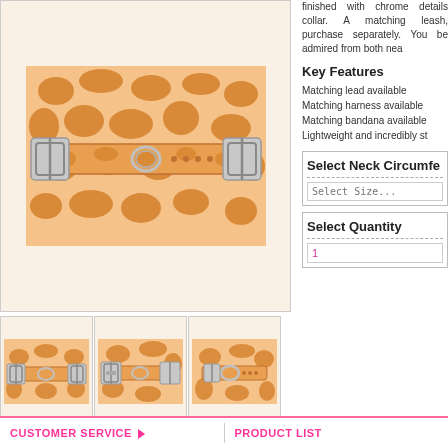[Figure (photo): Large main product image of orange giraffe-print dog collar with chrome buckle details]
[Figure (photo): Thumbnail 1: giraffe-print collar front view with double buckle]
[Figure (photo): Thumbnail 2: giraffe-print collar close-up of buckle]
[Figure (photo): Thumbnail 3: giraffe-print collar side profile]
[Figure (photo): Thumbnail 4: giraffe-print collar flat angled view with buckle]
[Figure (photo): Thumbnail 5: giraffe-print collar strap flat view]
[Figure (photo): Thumbnail 6: giraffe-print collar/leash vertical narrow view]
finished with chrome details collar. A matching leash, purchase separately. You be admired from both nea
Key Features
Matching lead available
Matching harness available
Matching bandana available
Lightweight and incredibly st
Select Neck Circumfe
Select Size...
Select Quantity
1
CUSTOMER SERVICE   PRODUCT LIST